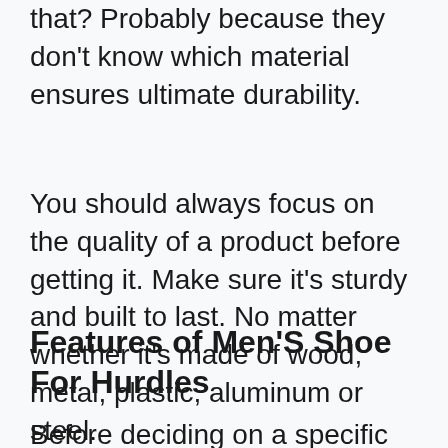that? Probably because they don't know which material ensures ultimate durability.
You should always focus on the quality of a product before getting it. Make sure it's sturdy and built to last. No matter whether it's made of wood, metal, plastic, aluminum or steel.
Features of Men'S Shoe For Hurdles
Before deciding on a specific product, be certain that it has all